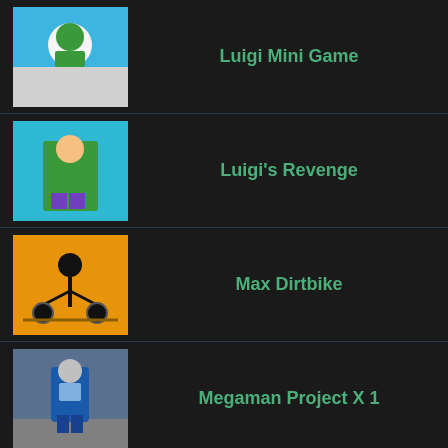Luigi Mini Game
Luigi's Revenge
Max Dirtbike
Megaman Project X 1
Megaman Project X 2
Megaman Project X 3
Megaman Project X 4
Michigan Hawk